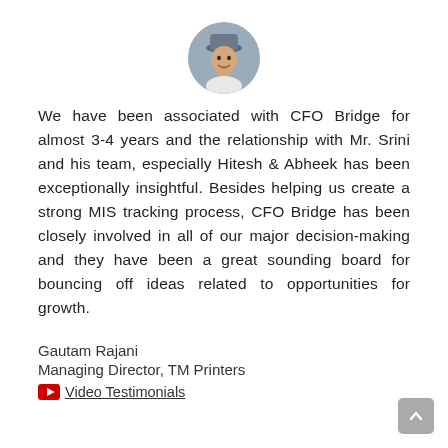[Figure (photo): Circular profile photo of Gautam Rajani, a man wearing a cap, outdoors.]
We have been associated with CFO Bridge for almost 3-4 years and the relationship with Mr. Srini and his team, especially Hitesh & Abheek has been exceptionally insightful. Besides helping us create a strong MIS tracking process, CFO Bridge has been closely involved in all of our major decision-making and they have been a great sounding board for bouncing off ideas related to opportunities for growth.
Gautam Rajani
Managing Director, TM Printers
Video Testimonials